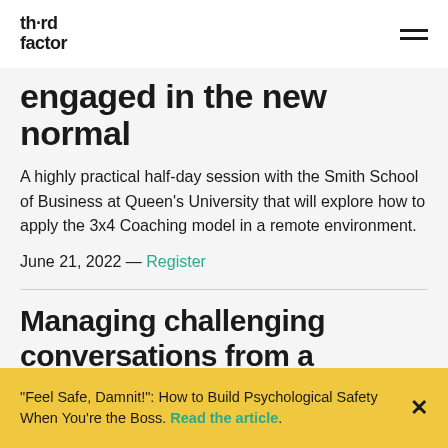Third Factor
engaged in the new normal
A highly practical half-day session with the Smith School of Business at Queen's University that will explore how to apply the 3x4 Coaching model in a remote environment.
June 21, 2022 — Register
Managing challenging conversations from a distance
"Feel Safe, Damnit!": How to Build Psychological Safety When You're the Boss. Read the article.